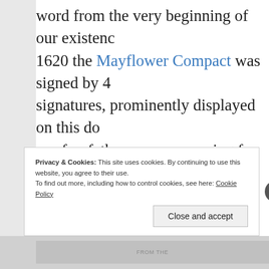word from the very beginning of our existence. In 1620 the Mayflower Compact was signed by 41 signatures, prominently displayed on this doc... our forefathers were preparing for future trou...
Our forefathers knew their only hope for estab... country was through Him who placed the mo...
[Figure (photo): Dark space/night sky photograph with stars and nebula]
Privacy & Cookies: This site uses cookies. By continuing to use this website, you agree to their use.
To find out more, including how to control cookies, see here: Cookie Policy